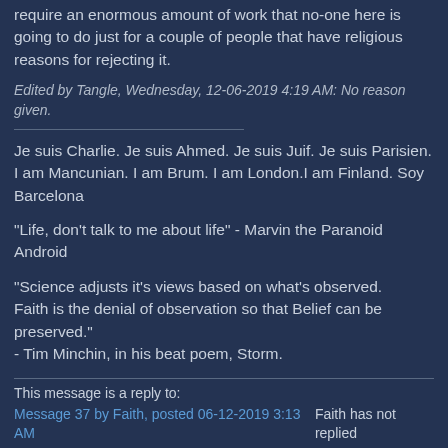require an enormous amount of work that no-one here is going to do just for a couple of people that have religious reasons for rejecting it.
Edited by Tangle, Wednesday, 12-06-2019 4:19 AM: No reason given.
Je suis Charlie. Je suis Ahmed. Je suis Juif. Je suis Parisien. I am Mancunian. I am Brum. I am London.I am Finland. Soy Barcelona
"Life, don't talk to me about life" - Marvin the Paranoid Android
"Science adjusts it's views based on what's observed.
Faith is the denial of observation so that Belief can be preserved."
- Tim Minchin, in his beat poem, Storm.
This message is a reply to:
Message 37 by Faith, posted 06-12-2019 3:13 AM
Faith has not replied